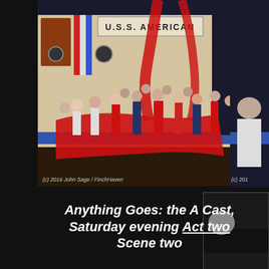[Figure (photo): Theatre production photo of 'Anything Goes' showing a large cast on stage with a USS American ship backdrop. Performers in sailor costumes and red/navy dresses holding a large red fabric. Copyright (c) 2016 John Sage / FinchHaven.]
[Figure (photo): Partial photo on right side, cropped, showing part of a performer with blue background. Copyright (c) 2016 John Sage / FinchHaven (partially visible).]
[Figure (photo): Partial photo at bottom right, dark background, partially visible performer.]
Anything Goes: the A Cast, Saturday evening Act two Scene two